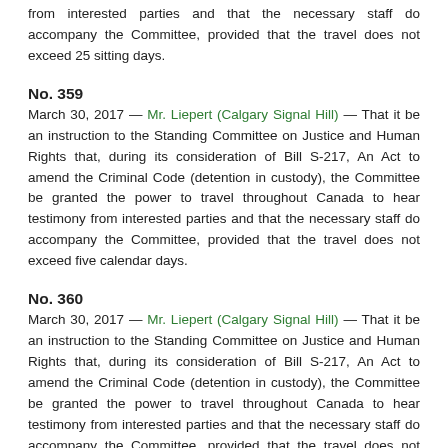from interested parties and that the necessary staff do accompany the Committee, provided that the travel does not exceed 25 sitting days.
No. 359
March 30, 2017 — Mr. Liepert (Calgary Signal Hill) — That it be an instruction to the Standing Committee on Justice and Human Rights that, during its consideration of Bill S-217, An Act to amend the Criminal Code (detention in custody), the Committee be granted the power to travel throughout Canada to hear testimony from interested parties and that the necessary staff do accompany the Committee, provided that the travel does not exceed five calendar days.
No. 360
March 30, 2017 — Mr. Liepert (Calgary Signal Hill) — That it be an instruction to the Standing Committee on Justice and Human Rights that, during its consideration of Bill S-217, An Act to amend the Criminal Code (detention in custody), the Committee be granted the power to travel throughout Canada to hear testimony from interested parties and that the necessary staff do accompany the Committee, provided that the travel does not exceed ten calendar days.
No. 361
March 30, 2017 — Mr. Liepert (Calgary Signal Hill) — That it be an